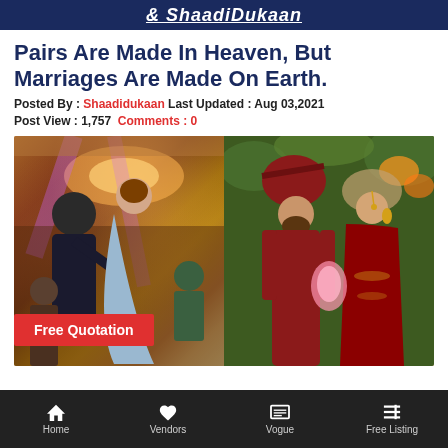ShaadiDukaan
Pairs Are Made In Heaven, But Marriages Are Made On Earth.
Posted By : Shaadidukaan Last Updated : Aug 03,2021
Post View : 1,757 Comments : 0
[Figure (photo): Two wedding photos side by side: left shows a couple at an engagement/ring ceremony in a decorated hall, right shows a bride and groom in traditional Indian wedding attire facing each other closely]
Free Quotation
Home  Vendors  Vogue  Free Listing